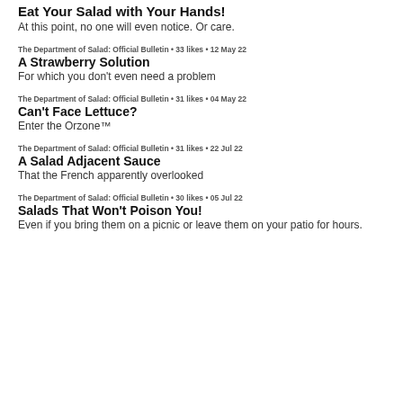Eat Your Salad with Your Hands!
At this point, no one will even notice. Or care.
The Department of Salad: Official Bulletin • 33 likes • 12 May 22
A Strawberry Solution
For which you don't even need a problem
The Department of Salad: Official Bulletin • 31 likes • 04 May 22
Can't Face Lettuce?
Enter the Orzone™
The Department of Salad: Official Bulletin • 31 likes • 22 Jul 22
A Salad Adjacent Sauce
That the French apparently overlooked
The Department of Salad: Official Bulletin • 30 likes • 05 Jul 22
Salads That Won't Poison You!
Even if you bring them on a picnic or leave them on your patio for hours.